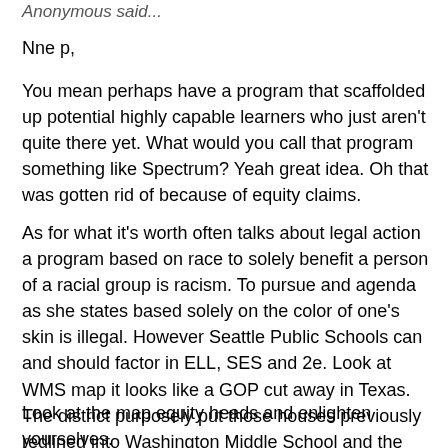Anonymous said...
Nne p,
You mean perhaps have a program that scaffolded up potential highly capable learners who just aren't quite there yet. What would you call that program something like Spectrum? Yeah great idea. Oh that was gotten rid of because of equity claims.
As for what it's worth often talks about legal action a program based on race to solely benefit a person of a racial group is racism. To pursue and agenda as she states based solely on the color of one's skin is illegal. However Seattle Public Schools can and should factor in ELL, SES and 2e. Look at WMS map it looks like a GOP cut away in Texas. The district purposely put those houses previously redlined into Washington Middle School and the others drive past WMS to Meany.
Look at the map equity heads and enlighten yourselves.